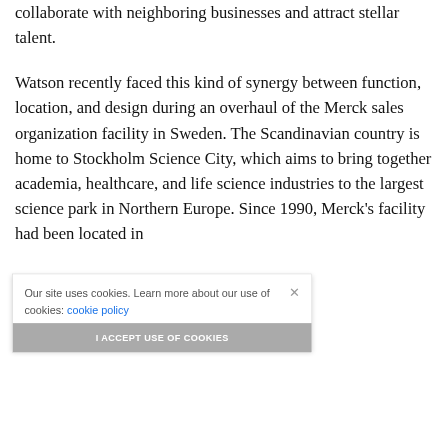collaborate with neighboring businesses and attract stellar talent.
Watson recently faced this kind of synergy between function, location, and design during an overhaul of the Merck sales organization facility in Sweden. The Scandinavian country is home to Stockholm Science City, which aims to bring together academia, healthcare, and life science industries to the largest science park in Northern Europe. Since 1990, Merck's facility had been located in …kholm. …organization …ckholm, as
Our site uses cookies. Learn more about our use of cookies: cookie policy
I ACCEPT USE OF COOKIES
Shares